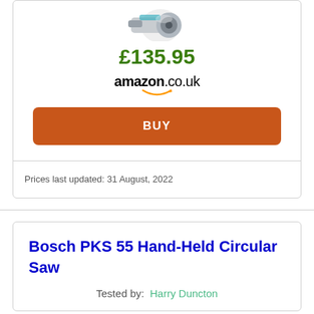[Figure (photo): Partial product image of a circular saw tool at the top of a product card]
£135.95
[Figure (logo): Amazon.co.uk logo with orange smile arc]
BUY
Prices last updated: 31 August, 2022
Bosch PKS 55 Hand-Held Circular Saw
Tested by: Harry Duncton